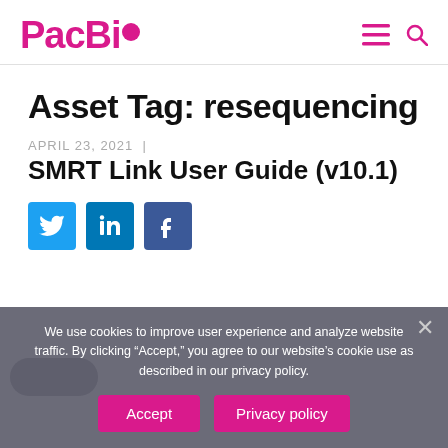PacBio
Asset Tag: resequencing
APRIL 23, 2021 |
SMRT Link User Guide (v10.1)
[Figure (other): Social sharing buttons: Twitter (blue), LinkedIn (blue), Facebook (dark blue)]
We use cookies to improve user experience and analyze website traffic. By clicking “Accept,” you agree to our website’s cookie use as described in our privacy policy.